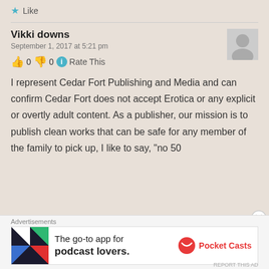★ Like
Vikki downs
September 1, 2017 at 5:21 pm
👍 0 👎 0 ℹ Rate This
I represent Cedar Fort Publishing and Media and can confirm Cedar Fort does not accept Erotica or any explicit or overtly adult content. As a publisher, our mission is to publish clean works that can be safe for any member of the family to pick up, I like to say, "no 50
Advertisements
The go-to app for podcast lovers. Pocket Casts